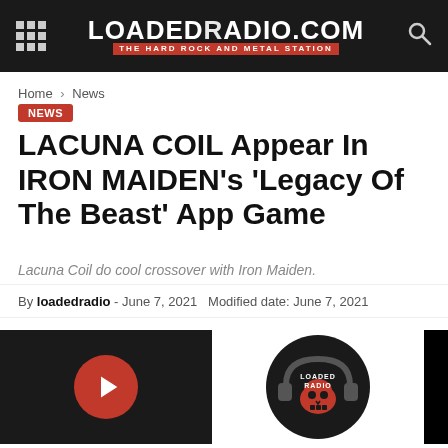LOADEDRADIO.COM — THE HARD ROCK AND METAL STATION
Home › News
NEWS
LACUNA COIL Appear In IRON MAIDEN's 'Legacy Of The Beast' App Game
Lacuna Coil do cool crossover with Iron Maiden.
By loadedradio - June 7, 2021  Modified date: June 7, 2021
[Figure (screenshot): Loaded Radio media player with red play button and Loaded Radio skull logo on dark background]